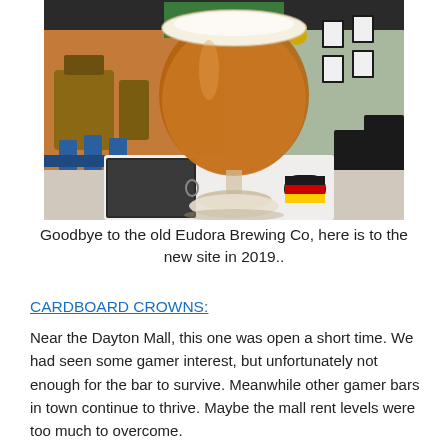[Figure (photo): A photo of a glass of amber/orange craft beer in a large stemmed snifter glass, sitting on a white coaster/placemat with a German flag coaster visible. The brewery interior is visible in the background with orange walls, blue bar stools, and brewing equipment. This appears to be the Eudora Brewing Co location.]
Goodbye to the old Eudora Brewing Co, here is to the new site in 2019..
CARDBOARD CROWNS:
Near the Dayton Mall, this one was open a short time.  We had seen some gamer interest, but unfortunately not enough for the bar to survive.  Meanwhile other gamer bars in town continue to thrive.  Maybe the mall rent levels were too much to overcome.